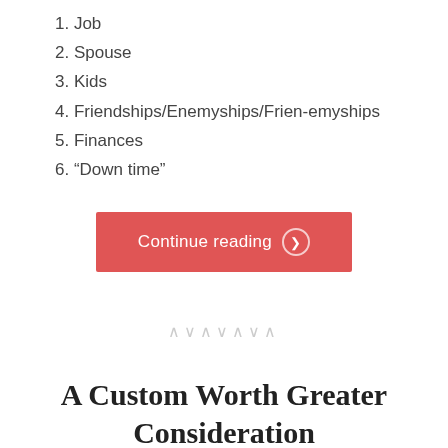1. Job
2. Spouse
3. Kids
4. Friendships/Enemyships/Frien-emyships
5. Finances
6. “Down time”
[Figure (other): Continue reading button with right arrow chevron circle, red background]
[Figure (other): Decorative zigzag divider line made of chevron characters]
A Custom Worth Greater Consideration